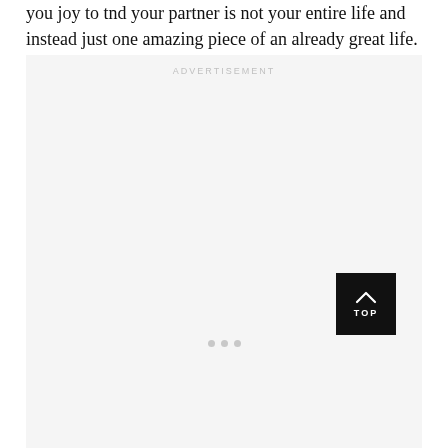you joy to tnd your partner is not your entire life and instead just one amazing piece of an already great life.
[Figure (other): Advertisement placeholder box with 'ADVERTISEMENT' label at top, three gray dots in the middle, and a black 'TOP' button with upward chevron arrow in the lower right corner]